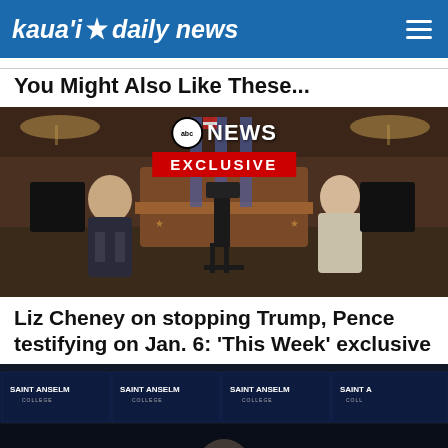kaua'i daily news
You Might Also Like These...
[Figure (photo): ABC News Exclusive interview with Liz Cheney, two people seated facing each other in a congressional hearing room with American flags in background]
Liz Cheney on stopping Trump, Pence testifying on Jan. 6: 'This Week' exclusive
[Figure (photo): Event at Saint Anselm College with a person at podium, Saint Anselm College branding banners visible]